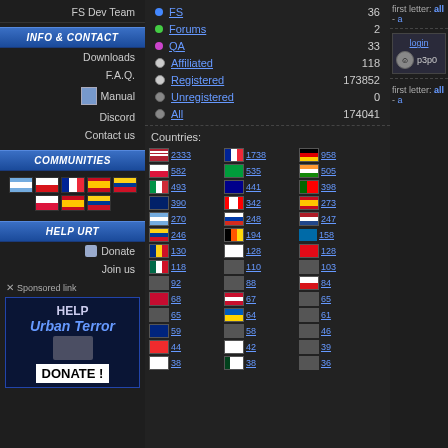FS Dev Team
INFO & CONTACT
Downloads
F.A.Q.
Manual
Discord
Contact us
COMMUNITIES
HELP URT
Donate
Join us
Sponsored link
[Figure (infographic): HELP Urban Terror DONATE! banner]
| Category | Count |
| --- | --- |
| FS | 36 |
| Forums | 2 |
| QA | 33 |
| Affiliated | 118 |
| Registered | 173852 |
| Unregistered | 0 |
| All | 174041 |
Countries:
| Flag | Count |
| --- | --- |
| US | 2333 |
| FR | 1738 |
| DE | 958 |
| PL | 582 |
| BR | 535 |
| IN | 505 |
| IT | 493 |
| AU | 441 |
| PT | 398 |
| GB | 390 |
| CA | 342 |
| ES | 273 |
| AR | 270 |
| RU | 248 |
| NL | 247 |
| CO | 246 |
| BE | 194 |
| SE | 158 |
| RO | 130 |
| FI | 128 |
| TR | 128 |
| MX | 118 |
| ? | 110 |
| ? | 103 |
| ? | 92 |
| CH | 88 |
| CZ | 84 |
| DK | 68 |
| AT | 67 |
| ? | 65 |
| ? | 65 |
| UA | 64 |
| PH | 61 |
| NZ | 59 |
| ? | 58 |
| ? | 46 |
| NO | 44 |
| IL | 42 |
| ? | 39 |
| ? | 38 |
| PK | 38 |
| ? | 36 |